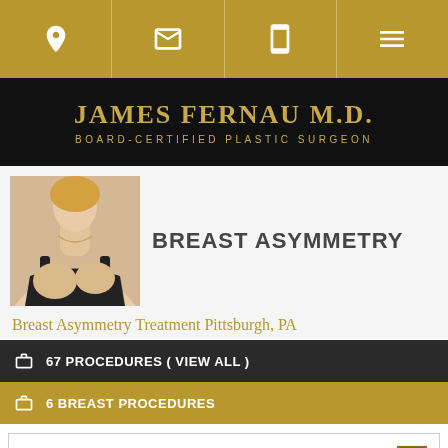[Figure (screenshot): Website navigation bar with location, email, phone, and menu icons on gold background]
JAMES FERNAU M.D. BOARD-CERTIFIED PLASTIC SURGEON
[Figure (photo): Woman in black top showing chest/breast area for breast asymmetry page]
BREAST ASYMMETRY
Breast Asymmetry Treatment Pittsburgh, PA
67 PROCEDURES ( VIEW ALL )
6 BREAST PROCEDURES
WHAT IS BREAST ASYMMETRY?